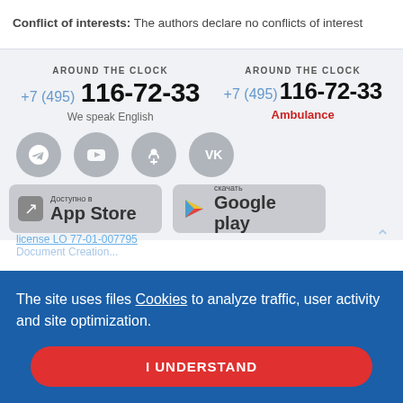Conflict of interests: The authors declare no conflicts of interest
AROUND THE CLOCK +7 (495) 116-72-33 We speak English
AROUND THE CLOCK +7 (495) 116-72-33 Ambulance
[Figure (infographic): Social media icons: Telegram, YouTube, Odnoklassniki, VKontakte]
[Figure (infographic): App Store and Google Play badges]
The site uses files Cookies to analyze traffic, user activity and site optimization.
I UNDERSTAND
license LO 77-01-...
Document Creation...